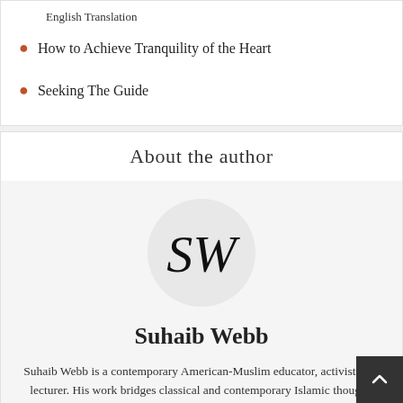English Translation
How to Achieve Tranquility of the Heart
Seeking The Guide
About the author
[Figure (illustration): Circular avatar placeholder with decorative script monogram letters SW]
Suhaib Webb
Suhaib Webb is a contemporary American-Muslim educator, activist, and lecturer. His work bridges classical and contemporary Islamic thought, address...